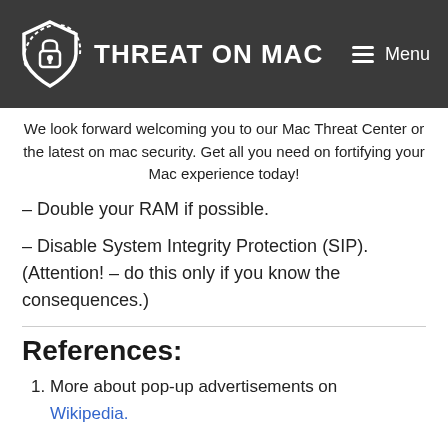THREAT ON MAC | Menu
We look forward welcoming you to our Mac Threat Center or the latest on mac security. Get all you need on fortifying your Mac experience today!
– Double your RAM if possible.
– Disable System Integrity Protection (SIP). (Attention! – do this only if you know the consequences.)
References:
1. More about pop-up advertisements on Wikipedia.